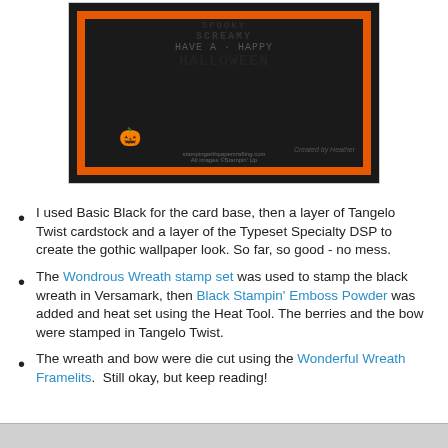[Figure (photo): A Halloween greeting card with black background, orange border, gothic-style text reading 'SPOOKY SCREAMY HAVE A HAPPY HALLOWEEN', an orange pumpkin illustration, and watermark text 'Created by Heather'. Stampin' Up logo and website visible at bottom.]
I used Basic Black for the card base, then a layer of Tangelo Twist cardstock and a layer of the Typeset Specialty DSP to create the gothic wallpaper look. So far, so good - no mess.
The Wondrous Wreath stamp set was used to stamp the black wreath in Versamark, then Black Stampin' Emboss Powder was added and heat set using the Heat Tool. The berries and the bow were stamped in Tangelo Twist.
The wreath and bow were die cut using the Wonderful Wreath Framelits.  Still okay, but keep reading!